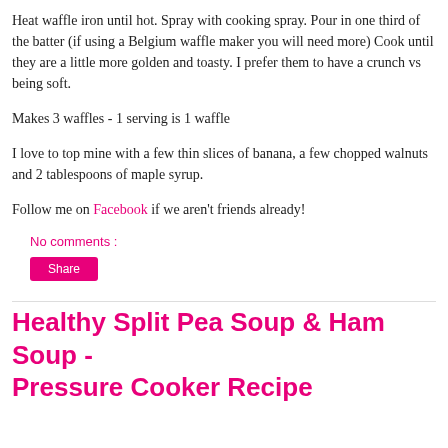Heat waffle iron until hot. Spray with cooking spray. Pour in one third of the batter (if using a Belgium waffle maker you will need more) Cook until they are a little more golden and toasty. I prefer them to have a crunch vs being soft.
Makes 3 waffles - 1 serving is 1 waffle
I love to top mine with a few thin slices of banana, a few chopped walnuts and 2 tablespoons of maple syrup.
Follow me on Facebook if we aren't friends already!
No comments :
Share
Healthy Split Pea Soup & Ham Soup - Pressure Cooker Recipe